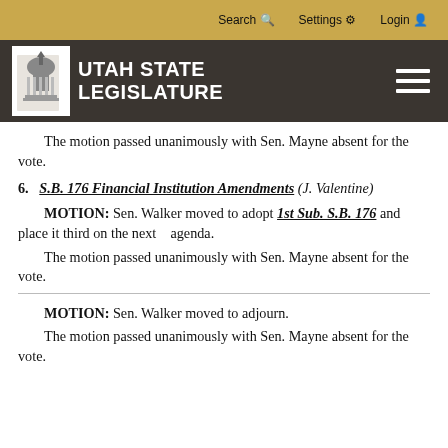Search | Settings | Login
UTAH STATE LEGISLATURE
The motion passed unanimously with Sen. Mayne absent for the vote.
6.  S.B. 176 Financial Institution Amendments (J. Valentine)
MOTION: Sen. Walker moved to adopt 1st Sub. S.B. 176 and place it third on the next   agenda.
The motion passed unanimously with Sen. Mayne absent for the vote.
MOTION: Sen. Walker moved to adjourn.
The motion passed unanimously with Sen. Mayne absent for the vote.